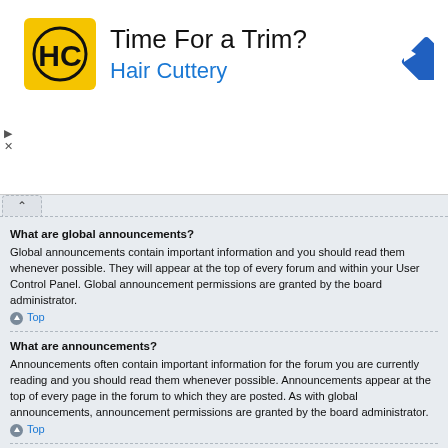[Figure (other): Advertisement banner for Hair Cuttery with logo, headline 'Time For a Trim?', subline 'Hair Cuttery', and a blue navigation arrow icon.]
What are global announcements?
Global announcements contain important information and you should read them whenever possible. They will appear at the top of every forum and within your User Control Panel. Global announcement permissions are granted by the board administrator.
Top
What are announcements?
Announcements often contain important information for the forum you are currently reading and you should read them whenever possible. Announcements appear at the top of every page in the forum to which they are posted. As with global announcements, announcement permissions are granted by the board administrator.
Top
What are sticky topics?
Sticky topics within the forum appear below announcements and only on the first